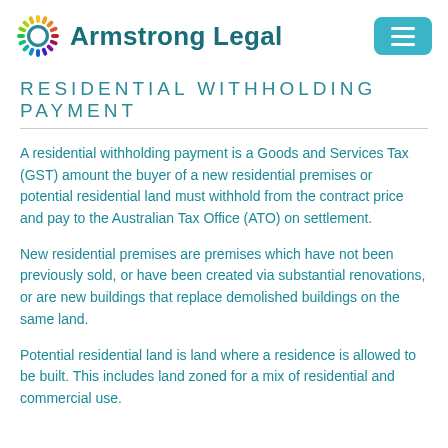Armstrong Legal
RESIDENTIAL WITHHOLDING PAYMENT
A residential withholding payment is a Goods and Services Tax (GST) amount the buyer of a new residential premises or potential residential land must withhold from the contract price and pay to the Australian Tax Office (ATO) on settlement.
New residential premises are premises which have not been previously sold, or have been created via substantial renovations, or are new buildings that replace demolished buildings on the same land.
Potential residential land is land where a residence is allowed to be built. This includes land zoned for a mix of residential and commercial use.